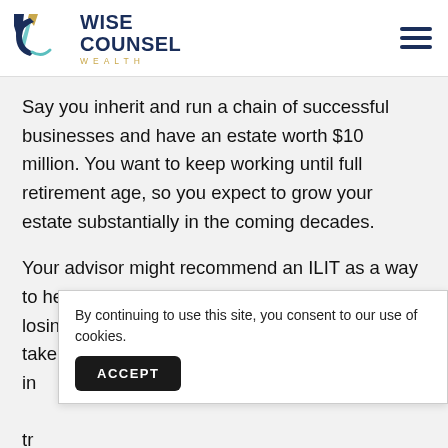[Figure (logo): Wise Counsel Wealth logo with stylized W and C letters in navy, teal, and gold colors, with text WISE COUNSEL in dark navy and WEALTH in gold]
Say you inherit and run a chain of successful businesses and have an estate worth $10 million. You want to keep working until full retirement age, so you expect to grow your estate substantially in the coming decades.
Your advisor might recommend an ILIT as a way to help pass on your substantial estate without losing too much to taxes in the transfer. So, you take out life in... tr... lo...
By continuing to use this site, you consent to our use of cookies.
ACCEPT